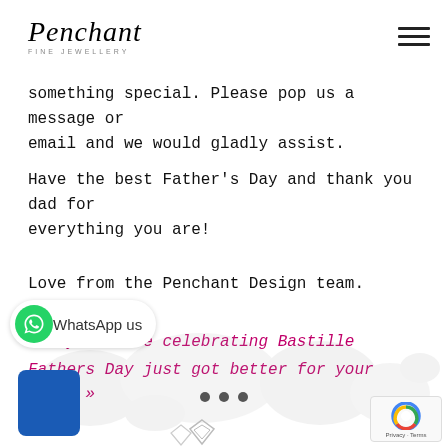Penchant Fine Jewellery
something special. Please pop us a message or email and we would gladly assist.
Have the best Father’s Day and thank you dad for everything you are!
Love from the Penchant Design team.
« Why we love celebrating Bastille
Fathers Day just got better for your POPS! »
[Figure (other): WhatsApp us button with green WhatsApp icon]
[Figure (other): Blue square button, three dots pagination indicator, reCAPTCHA badge, world map background overlay]